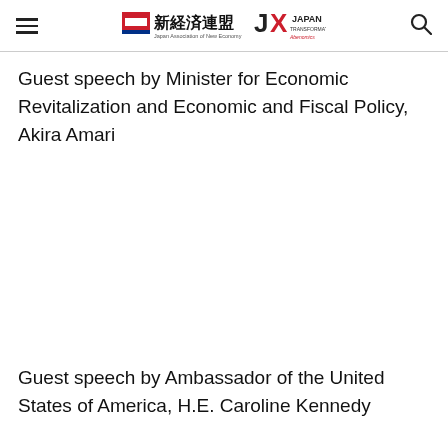Japan Association of New Economy / JAPAN TRANSFORMATION
Guest speech by Minister for Economic Revitalization and Economic and Fiscal Policy, Akira Amari
Guest speech by Ambassador of the United States of America, H.E. Caroline Kennedy